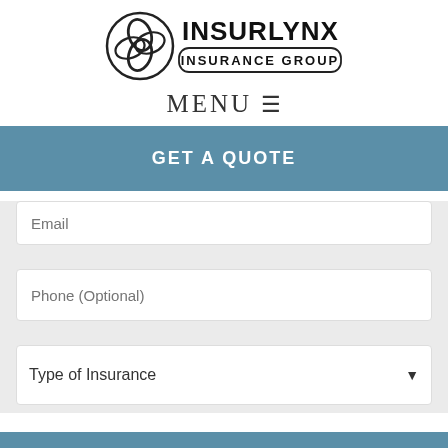[Figure (logo): InsurLynx Insurance Group logo with circular chain-link emblem and text INSURLYNX INSURANCE GROUP]
MENU ≡
GET A QUOTE
Email (partially visible field placeholder)
Phone (Optional)
Type of Insurance